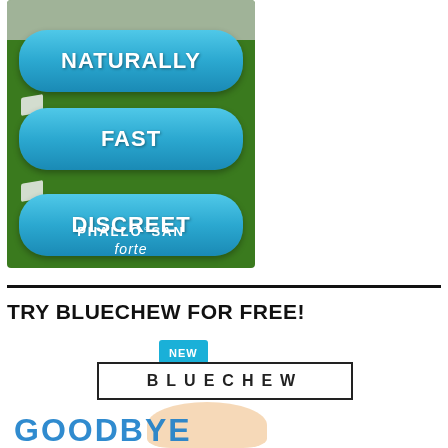[Figure (advertisement): Advertisement for Phallosan Forte showing three blue rounded pill-shaped buttons stacked vertically on a green background. The buttons read 'NATURALLY', 'FAST', and 'DISCREET' in white bold uppercase text. Below the buttons is the brand name 'PHALLOSAN forte' in white text with a male symbol. The background shows crumpled newspaper/paper texture at top.]
TRY BLUECHEW FOR FREE!
[Figure (advertisement): Advertisement for BlueChew showing brand logo. A cyan/teal badge with 'NEW' text appears above a rectangular bordered box with 'BLUECHEW' text in spaced letters. Below is a partial image showing a hand and the beginning of text 'GOODBYE' in large blue letters.]